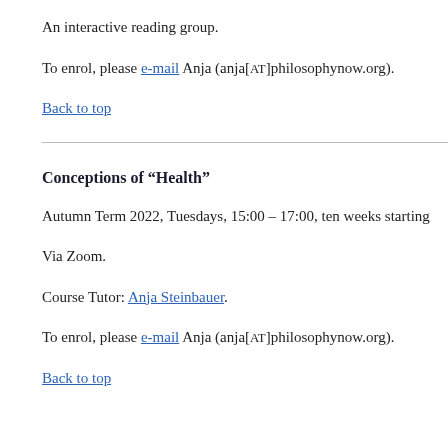An interactive reading group.
To enrol, please e-mail Anja (anja[AT]philosophynow.org).
Back to top
Conceptions of “Health”
Autumn Term 2022, Tuesdays, 15:00 – 17:00, ten weeks starting
Via Zoom.
Course Tutor: Anja Steinbauer.
To enrol, please e-mail Anja (anja[AT]philosophynow.org).
Back to top